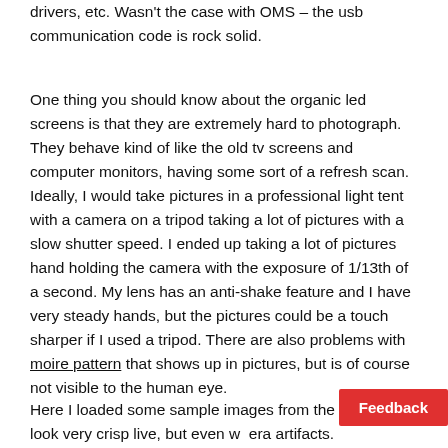drivers, etc. Wasn't the case with OMS – the usb communication code is rock solid.
One thing you should know about the organic led screens is that they are extremely hard to photograph. They behave kind of like the old tv screens and computer monitors, having some sort of a refresh scan. Ideally, I would take pictures in a professional light tent with a camera on a tripod taking a lot of pictures with a slow shutter speed. I ended up taking a lot of pictures hand holding the camera with the exposure of 1/13th of a second. My lens has an anti-shake feature and I have very steady hands, but the pictures could be a touch sharper if I used a tripod. There are also problems with moire pattern that shows up in pictures, but is of course not visible to the human eye.
Here I loaded some sample images from the web. They look very crisp live, but even wi... era artifacts.